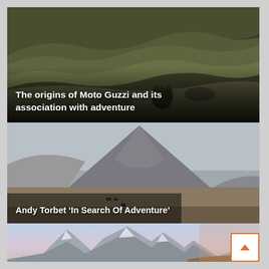[Figure (photo): Motorcyclist riding through hilly moorland terrain, dark atmospheric landscape with green-brown hills]
The origins of Moto Guzzi and its association with adventure
[Figure (photo): Large mountain (Buachaille Etive Mor style) with a flat highland plain below, a road visible, motorcyclist in foreground, overcast sky]
Andy Torbet ‘In Search Of Adventure’
[Figure (photo): Alpine peaks with snow and dramatic pink-blue sky at dusk]